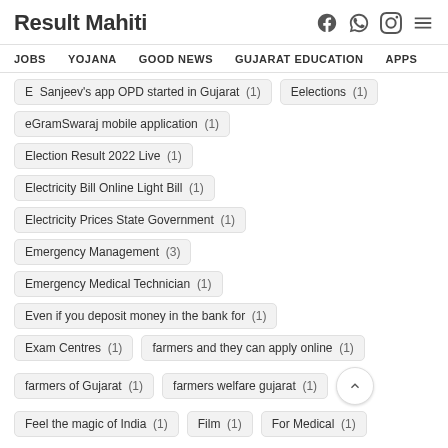Result Mahiti
JOBS  YOJANA  GOOD NEWS  GUJARAT EDUCATION  APPS
E  Sanjeev's app OPD started in Gujarat (1)
Eelections (1)
eGramSwaraj mobile application (1)
Election Result 2022 Live (1)
Electricity Bill Online Light Bill (1)
Electricity Prices State Government (1)
Emergency Management (3)
Emergency Medical Technician (1)
Even if you deposit money in the bank for (1)
Exam Centres (1)
farmers and they can apply online (1)
farmers of Gujarat (1)
farmers welfare gujarat (1)
Feel the magic of India (1)
Film (1)
For Medical (1)